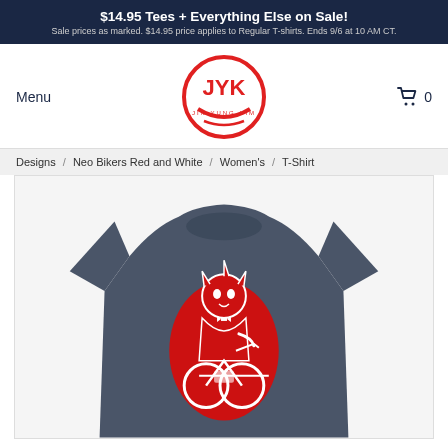$14.95 Tees + Everything Else on Sale! Sale prices as marked. $14.95 price applies to Regular T-shirts. Ends 9/6 at 10 AM CT.
Menu
[Figure (logo): JYK (Jin Yung Kim) circular red logo with stylized letters]
0
Designs / Neo Bikers Red and White / Women's / T-Shirt
[Figure (photo): Dark grey women's t-shirt with red and white Neo Bikers graphic illustration of an anime-style character on a motorcycle]